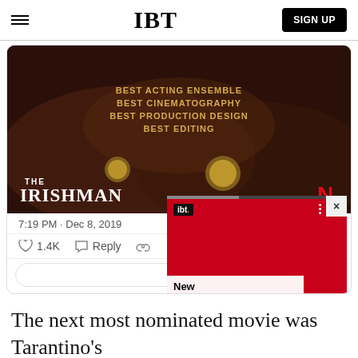IBT  SIGN UP
[Figure (screenshot): Tweet embed showing The Irishman Netflix promotional image with text: BEST ACTING ENSEMBLE, BEST CINEMATOGRAPHY, BEST PRODUCTION DESIGN, BEST EDITING. Movie title THE IRISHMAN with Netflix logo. Tweet dated 7:19 PM · Dec 8, 2019. 1.4K likes. Reply button. Read 20 [more] link. Overlapping floating ad with IBT logo showing David Bowie-style face and text 'New SpiderGenus,Severa...']
The next most nominated movie was Tarantino's